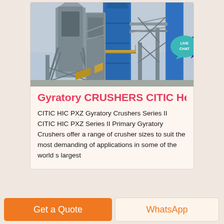[Figure (photo): Industrial gyratory crusher facility — tall blue steel structures, conveyors, and scaffolding against a grey sky]
Gyratory CRUSHERS CITIC Heavy
CITIC HIC PXZ Gyratory Crushers Series II CITIC HIC PXZ Series II Primary Gyratory Crushers offer a range of crusher sizes to suit the most demanding of applications in some of the world s largest
Get a Quote
WhatsApp